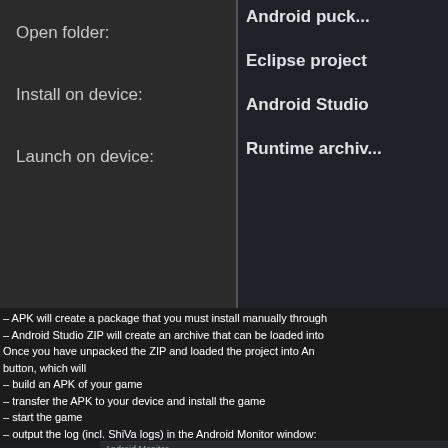[Figure (screenshot): Dark-themed UI panel showing two columns. Left column labels: 'Open folder:', 'Install on device:', 'Launch on device:'. Right column values: 'Eclipse project', 'Android Studio', 'Runtime archiv...']
– APK will create a package that you must install manually through
– Android Studio ZIP will create an archive that can be loaded into Once you have unpacked the ZIP and loaded the project into An button, which will
– build an APK of your game
– transfer the APK to your device and install the game
– start the game
– output the log (incl. ShiVa logs) in the Android Monitor window:
[Figure (screenshot): Android Monitor window screenshot showing device 'Amazon KFDOWI Android 5.1.1, API 22' and app 'com.shiva.test (27505)'. Log entries visible with timestamps 07-25 15:31:34 through 07-25 15:33:00 showing com.shiva.test log output including FrameworkJumpTable, kernel, and inputtest entries.]